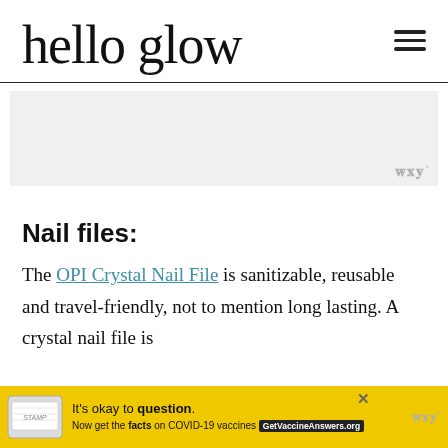hello glow
[Figure (other): Gray advertisement placeholder box with Wordstream logo in bottom right corner]
Nail files:
The OPI Crystal Nail File is sanitizable, reusable and travel-friendly, not to mention long lasting. A crystal nail file is
[Figure (other): Yellow COVID-19 vaccine advertisement banner at bottom of page. Shows stamp graphic, text reading 'It’s okay to question. Now get the facts on COVID-19 vaccines GetVaccineAnswers.org' with close button and Wordstream logo.]